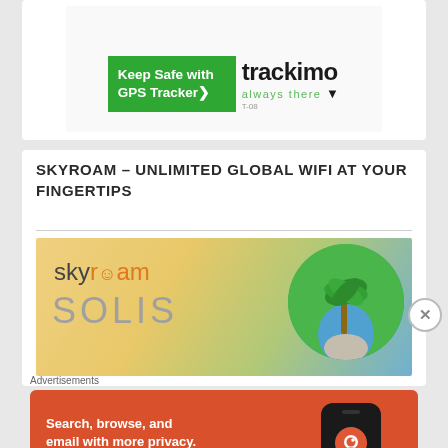[Figure (other): Trackimo GPS Tracker advertisement with green banner saying 'Keep Safe with GPS Tracker>' and trackimo logo with 'always there' tagline and T-08 model]
SKYROAM – UNLIMITED GLOBAL WIFI AT YOUR FINGERTIPS
[Figure (other): Skyroam Solis advertisement banner showing skyroam logo in orange/grey text with palm tree circle image on warm gradient background]
Advertisements
[Figure (other): DuckDuckGo advertisement on orange-red background: 'Search, browse, and email with more privacy. All in One Free App' with DuckDuckGo logo on phone mockup]